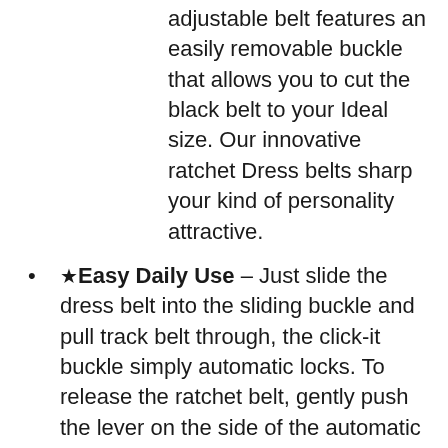adjustable belt features an easily removable buckle that allows you to cut the black belt to your Ideal size. Our innovative ratchet Dress belts sharp your kind of personality attractive.
★Easy Daily Use – Just slide the dress belt into the sliding buckle and pull track belt through, the click-it buckle simply automatic locks. To release the ratchet belt, gently push the lever on the side of the automatic buckle and lock will snap. Simple, smooth and sleek!
★Awesome Gift Ideas- Experience premium with CHAOREN! Make a big impression. CHAOREN click adjustable belt will meet almost any occasions